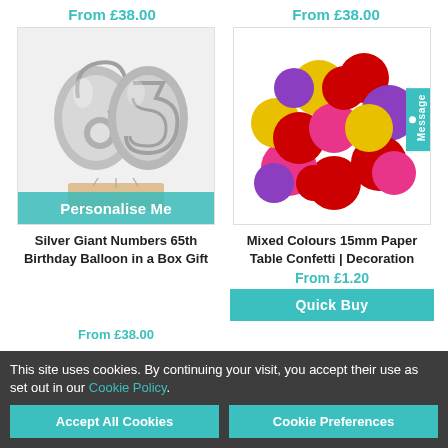From £38.00
From £38.00
[Figure (photo): Silver giant number balloons shaped as '65' in silver metallic, standing in a box, white background. Has 'Personalise Me' teal banner at bottom.]
[Figure (photo): Colorful round paper confetti pieces in mixed colours: red, yellow, purple, pink on a white background.]
Silver Giant Numbers 65th Birthday Balloon in a Box Gift
Mixed Colours 15mm Paper Table Confetti | Decoration
From £1.20
Quick Buy
From £38.00
This site uses cookies. By continuing your visit, you accept their use as set out in our Cookie Policy.
Accept All Cookies
Cookie Preferences